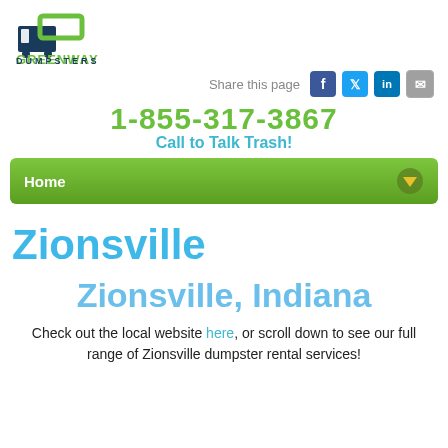[Figure (logo): Greenway Dumpsters logo with dark blue dumpster icon and green rectangle, text GREENWAY DUMPSTERS below]
[Figure (infographic): Share this page with Facebook, Twitter, LinkedIn, and Email icons]
1-855-317-3867
Call to Talk Trash!
[Figure (infographic): Green navigation bar with Home label and dropdown arrow]
Zionsville
Zionsville, Indiana
Check out the local website here, or scroll down to see our full range of Zionsville dumpster rental services!